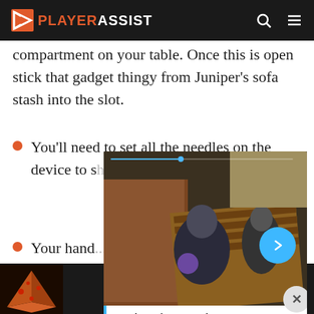PlayerAssist
compartment on your table. Once this is open stick that gadget thingy from Juniper's sofa stash into the slot.
You'll need to set all the needles on the device to s... readout. T... solution re...
Your hand... need to be... process.
You'll then...
[Figure (screenshot): Video popup overlay showing a game scene (Flintlock: The Siege of Dawn) with a character in action, progress bar, next button, and video title 'Magic andGunpowder FlyinGameplay Trailer forFlintlock: The Siege of D...']
[Figure (photo): Advertisement banner for Seamless food delivery showing pizza on left, Seamless logo in red center, and ORDER NOW button on right]